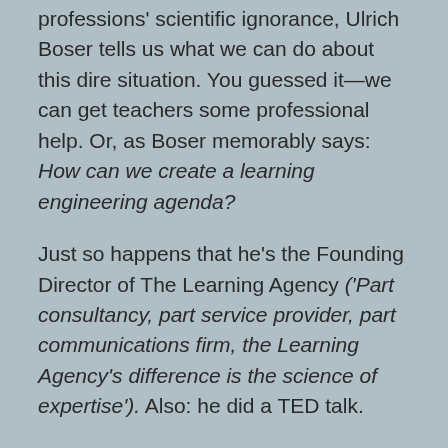professions' scientific ignorance, Ulrich Boser tells us what we can do about this dire situation. You guessed it—we can get teachers some professional help. Or, as Boser memorably says: How can we create a learning engineering agenda?
Just so happens that he's the Founding Director of The Learning Agency ('Part consultancy, part service provider, part communications firm, the Learning Agency's difference is the science of expertise'). Also: he did a TED talk.
What about the professional development that teachers routinely get, provided by their schools? Isn't that supposed to be research-based?  Teachers in Boser's survey claimed they got their updated knowledge about teaching from workshops,